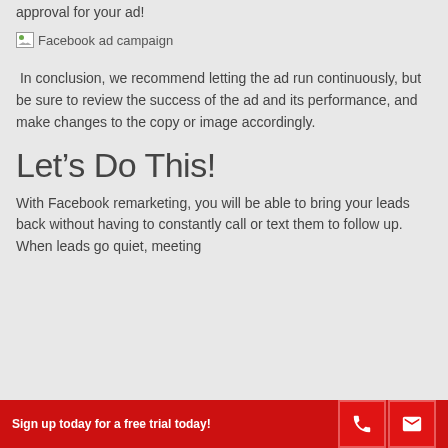approval for your ad!
[Figure (illustration): Broken image placeholder labeled 'Facebook ad campaign']
In conclusion, we recommend letting the ad run continuously, but be sure to review the success of the ad and its performance, and make changes to the copy or image accordingly.
Let's Do This!
With Facebook remarketing, you will be able to bring your leads back without having to constantly call or text them to follow up. When leads go quiet, meeting
Sign up today for a free trial today!